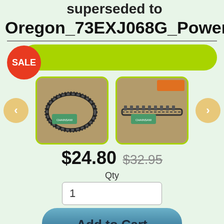superseded to Oregon_73EXJ068G_PowerC
[Figure (screenshot): E-commerce product page showing chainsaw chain with SALE badge, two product images, price $24.80 (was $32.95), quantity input, and Add to Cart button]
$24.80  $32.95
Qty
1
Add to Cart